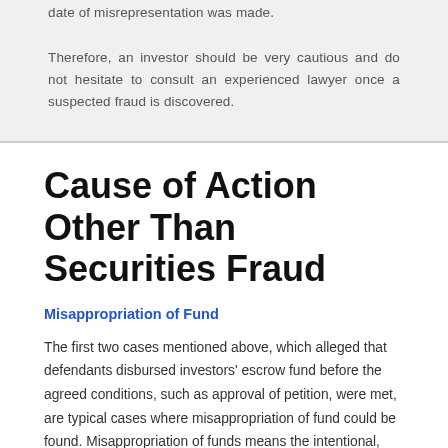date of misrepresentation was made. Therefore, an investor should be very cautious and do not hesitate to consult an experienced lawyer once a suspected fraud is discovered.
Cause of Action Other Than Securities Fraud
Misappropriation of Fund
The first two cases mentioned above, which alleged that defendants disbursed investors' escrow fund before the agreed conditions, such as approval of petition, were met, are typical cases where misappropriation of fund could be found. Misappropriation of funds means the intentional, illegal use of the funds of another person for one's own use or other